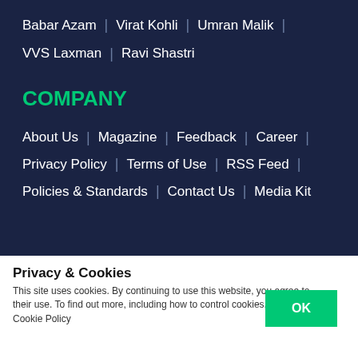Babar Azam | Virat Kohli | Umran Malik |
VVS Laxman | Ravi Shastri
COMPANY
About Us | Magazine | Feedback | Career |
Privacy Policy | Terms of Use | RSS Feed |
Policies & Standards | Contact Us | Media Kit
Privacy & Cookies
This site uses cookies. By continuing to use this website, you agree to their use. To find out more, including how to control cookies, see here: Cookie Policy